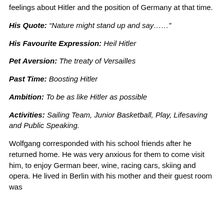feelings about Hitler and the position of Germany at that time.
His Quote: “Nature might stand up and say……”
His Favourite Expression: Heil Hitler
Pet Aversion: The treaty of Versailles
Past Time: Boosting Hitler
Ambition: To be as like Hitler as possible
Activities: Sailing Team, Junior Basketball, Play, Lifesaving and Public Speaking.
Wolfgang corresponded with his school friends after he returned home. He was very anxious for them to come visit him, to enjoy German beer, wine, racing cars, skiing and opera. He lived in Berlin with his mother and their guest room was